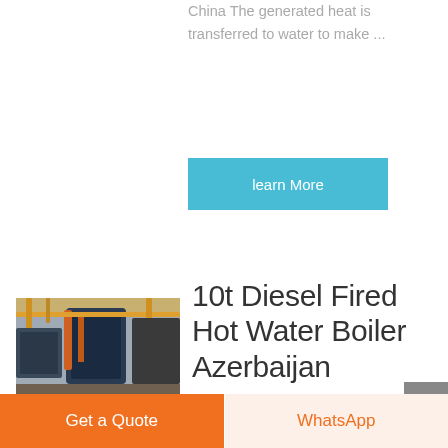China The generated heat is transferred to water to make ...
learn More
[Figure (photo): Industrial boiler equipment inside a facility]
10t Diesel Fired Hot Water Boiler Azerbaijan
10t Gas Steam Boiler Commercial Seller Azerbaijan. 10 5 mw automatic igniting biomass
Get a Quote
WhatsApp